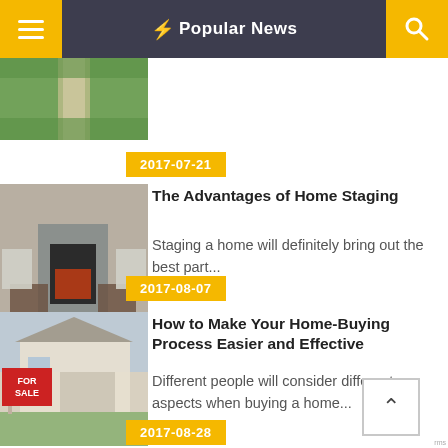⚡ Popular News
[Figure (photo): Aerial view of a garden path with green grass]
2017-07-21
[Figure (photo): Modern living room interior with fireplace and chairs]
The Advantages of Home Staging
Staging a home will definitely bring out the best part...
2017-08-07
[Figure (photo): House exterior with a FOR SALE sign in front yard]
How to Make Your Home-Buying Process Easier and Effective
Different people will consider different aspects when buying a home...
2017-08-28